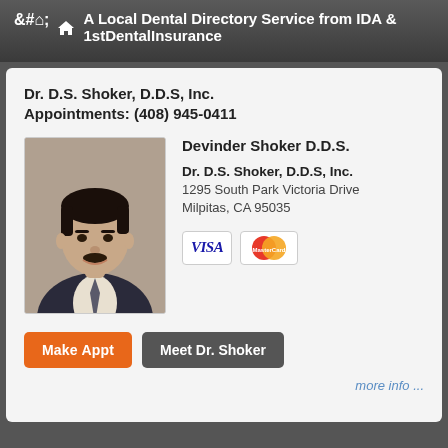A Local Dental Directory Service from IDA & 1stDentalInsurance
Dr. D.S. Shoker, D.D.S, Inc.
Appointments: (408) 945-0411
[Figure (photo): Headshot photo of Dr. Devinder Shoker in suit and tie]
Devinder Shoker D.D.S.
Dr. D.S. Shoker, D.D.S, Inc.
1295 South Park Victoria Drive
Milpitas, CA 95035
[Figure (other): VISA and MasterCard payment icons]
Make Appt
Meet Dr. Shoker
more info ...